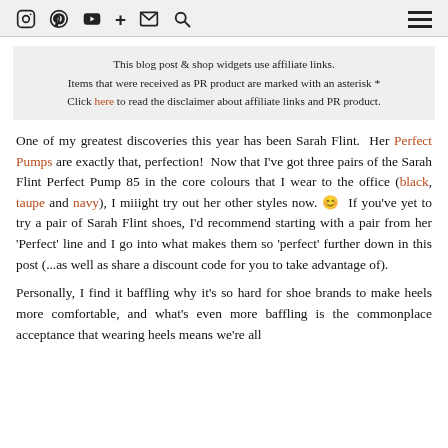Icons: Instagram, Pinterest, YouTube, +, Email, Search | Hamburger menu
This blog post & shop widgets use affiliate links.
Items that were received as PR product are marked with an asterisk *
Click here to read the disclaimer about affiliate links and PR product.
One of my greatest discoveries this year has been Sarah Flint. Her Perfect Pumps are exactly that, perfection! Now that I've got three pairs of the Sarah Flint Perfect Pump 85 in the core colours that I wear to the office (black, taupe and navy), I miiight try out her other styles now. 🙂 If you've yet to try a pair of Sarah Flint shoes, I'd recommend starting with a pair from her 'Perfect' line and I go into what makes them so 'perfect' further down in this post (...as well as share a discount code for you to take advantage of).
Personally, I find it baffling why it's so hard for shoe brands to make heels more comfortable, and what's even more baffling is the commonplace acceptance that wearing heels means we're all